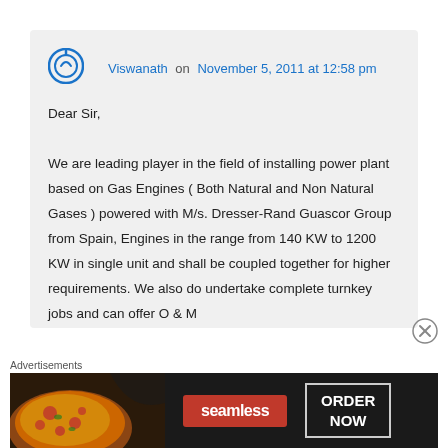Viswanath on November 5, 2011 at 12:58 pm
Dear Sir,

We are leading player in the field of installing power plant based on Gas Engines ( Both Natural and Non Natural Gases ) powered with M/s. Dresser-Rand Guascor Group from Spain, Engines in the range from 140 KW to 1200 KW in single unit and shall be coupled together for higher requirements. We also do undertake complete turnkey jobs and can offer O & M
[Figure (other): Seamless food delivery advertisement banner with pizza image, seamless logo and ORDER NOW button]
[Figure (other): Close/dismiss button (X in circle) for advertisement]